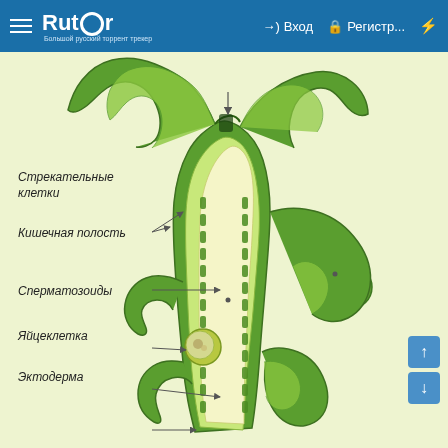Rutor — Вход — Регистр...
[Figure (illustration): Cross-sectional biological diagram of a hydra (cnidarian) showing internal anatomy with labeled structures: nematocytes (Стрекательные клетки), gastrovascular cavity (Кишечная полость), spermatozoids (Сперматозоиды), egg cell (Яйцеклетка), ectoderm (Эктодерма). The illustration shows green-colored tissue layers with tentacles and reproductive structures visible.]
Стрекательные клетки
Кишечная полость
Сперматозоиды
Яйцеклетка
Эктодерма